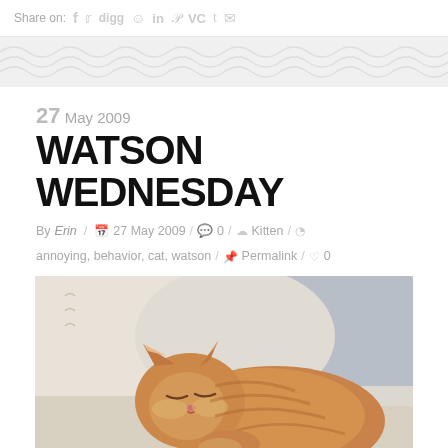Share on: f [twitter] digg [reddit] in p JC t [email]
27 May 2009
WATSON WEDNESDAY
By Erin / 27 May 2009 / 0 / Kitten / annoying, behavior, cat, watson / Permalink / 0
[Figure (photo): Orange tabby kitten sleeping on a white/cream leather couch, curled up, eyes closed, photographed from above. A dark object (possibly a bag or phone) is visible at the bottom of the frame.]